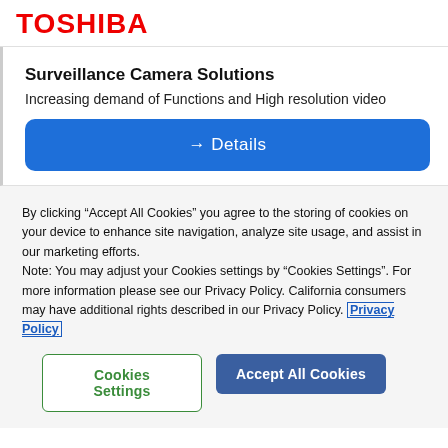TOSHIBA
Surveillance Camera Solutions
Increasing demand of Functions and High resolution video
→ Details
By clicking "Accept All Cookies" you agree to the storing of cookies on your device to enhance site navigation, analyze site usage, and assist in our marketing efforts.
Note: You may adjust your Cookies settings by "Cookies Settings". For more information please see our Privacy Policy. California consumers may have additional rights described in our Privacy Policy. Privacy Policy
Cookies Settings
Accept All Cookies